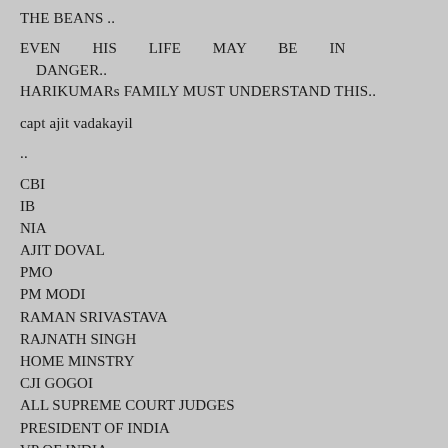THE BEANS ..
EVEN HIS LIFE MAY BE IN DANGER.. HARIKUMARs FAMILY MUST UNDERSTAND THIS..
capt ajit vadakayil
..
CBI
IB
NIA
AJIT DOVAL
PMO
PM MODI
RAMAN SRIVASTAVA
RAJNATH SINGH
HOME MINSTRY
CJI GOGOI
ALL SUPREME COURT JUDGES
PRESIDENT OF INDIA
VP OF INDIA
JANAM TV